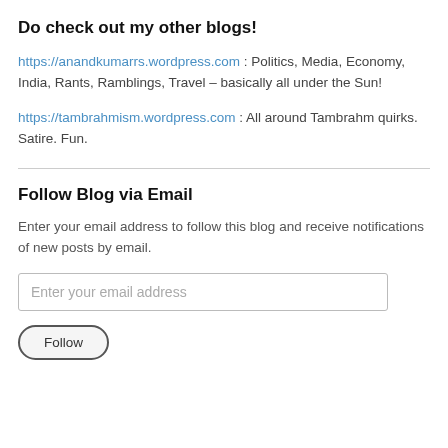Do check out my other blogs!
https://anandkumarrs.wordpress.com : Politics, Media, Economy, India, Rants, Ramblings, Travel – basically all under the Sun!
https://tambrahmism.wordpress.com : All around Tambrahm quirks. Satire. Fun.
Follow Blog via Email
Enter your email address to follow this blog and receive notifications of new posts by email.
Enter your email address
Follow